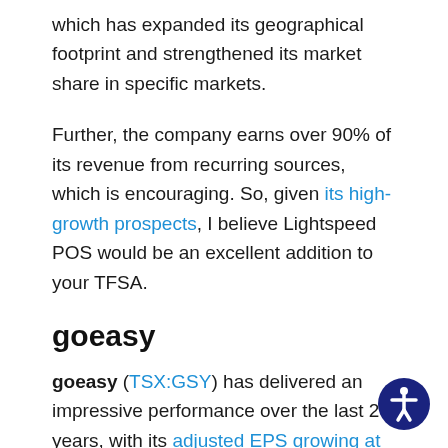which has expanded its geographical footprint and strengthened its market share in specific markets.
Further, the company earns over 90% of its revenue from recurring sources, which is encouraging. So, given its high-growth prospects, I believe Lightspeed POS would be an excellent addition to your TFSA.
goeasy
goeasy (TSX:GSY) has delivered an impressive performance over the last 20 years, with its adjusted EPS growing at a CAGR of 24.9%. The strong performances have led the company's